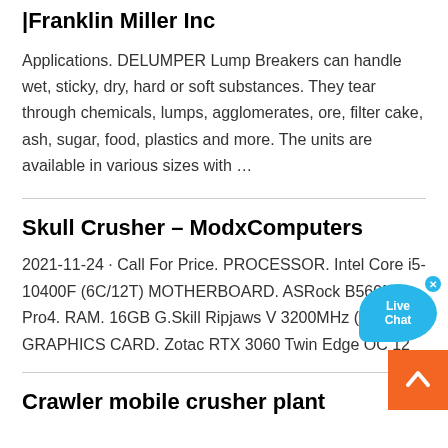Premium Crushers and Lump Breakers |Franklin Miller Inc
Applications. DELUMPER Lump Breakers can handle wet, sticky, dry, hard or soft substances. They tear through chemicals, lumps, agglomerates, ore, filter cake, ash, sugar, food, plastics and more. The units are available in various sizes with …
[Figure (other): Live Chat button bubble in cyan/blue color]
Skull Crusher – ModxComputers
2021-11-24 · Call For Price. PROCESSOR. Intel Core i5-10400F (6C/12T) MOTHERBOARD. ASRock B560M Pro4. RAM. 16GB G.Skill Ripjaws V 3200MHz (8GBx2) GRAPHICS CARD. Zotac RTX 3060 Twin Edge OC 12
[Figure (other): Back to top orange button with up arrow]
Crawler mobile crusher plant